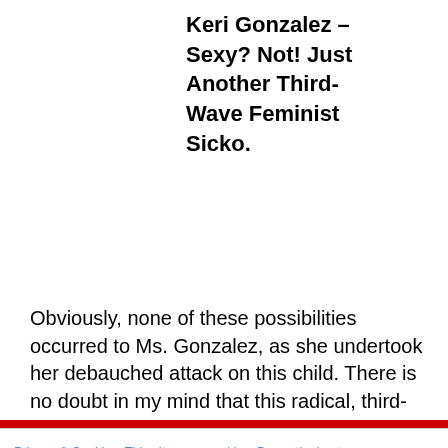Keri Gonzalez – Sexy? Not! Just Another Third-Wave Feminist Sicko.
Obviously, none of these possibilities occurred to Ms. Gonzalez, as she undertook her debauched attack on this child. There is no doubt in my mind that this radical, third-wave feminist was willing to undertake this warped encounter because she thought she was HOT SH*T and
Privacy & Cookies: This site uses cookies. By continuing to use this website, you agree to their use.
To find out more, including how to control cookies, see here: Cookie Policy
Close and accept